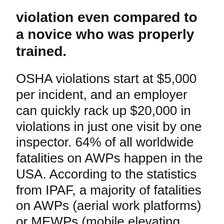violation even compared to a novice who was properly trained.
OSHA violations start at $5,000 per incident, and an employer can quickly rack up $20,000 in violations in just one visit by one inspector. 64% of all worldwide fatalities on AWPs happen in the USA. According to the statistics from IPAF, a majority of fatalities on AWPs (aerial work platforms) or MEWPs (mobile elevating work platforms) come from Electrocution and Entrapment. Mechanical failure only contributed to 12% of fatalities